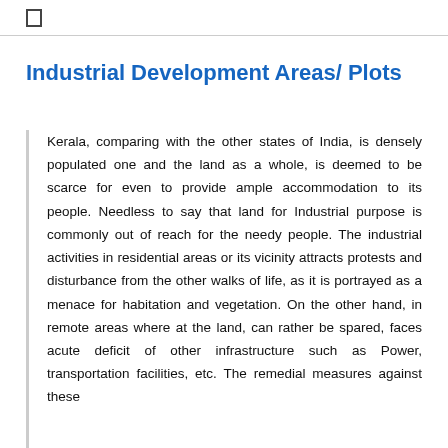☐
Industrial Development Areas/ Plots
Kerala, comparing with the other states of India, is densely populated one and the land as a whole, is deemed to be scarce for even to provide ample accommodation to its people. Needless to say that land for Industrial purpose is commonly out of reach for the needy people. The industrial activities in residential areas or its vicinity attracts protests and disturbance from the other walks of life, as it is portrayed as a menace for habitation and vegetation. On the other hand, in remote areas where at the land, can rather be spared, faces acute deficit of other infrastructure such as Power, transportation facilities, etc. The remedial measures against these